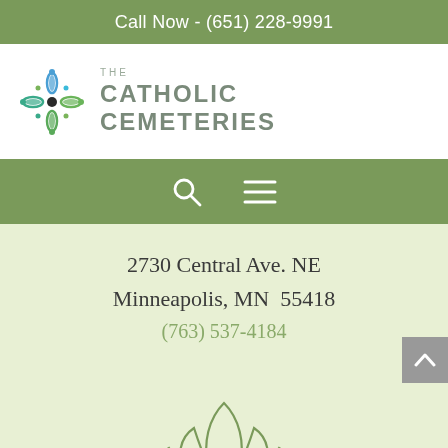Call Now - (651) 228-9991
[Figure (logo): The Catholic Cemeteries logo with decorative cross made of green and blue leaf shapes, with text 'THE CATHOLIC CEMETERIES']
[Figure (other): Navigation bar with search icon (magnifying glass) and hamburger menu icon]
2730 Central Ave. NE
Minneapolis, MN  55418
(763) 537-4184
[Figure (illustration): Decorative outline illustration of a lotus/lily flower in olive green]
ST. MARY'S CEMETERY